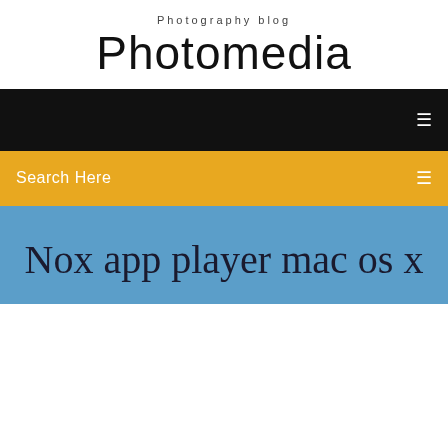Photography blog
Photomedia
[Figure (screenshot): Black navigation bar with white menu icon on the right]
[Figure (screenshot): Yellow/orange search bar with 'Search Here' text on left and icon on right]
Nox app player mac os x